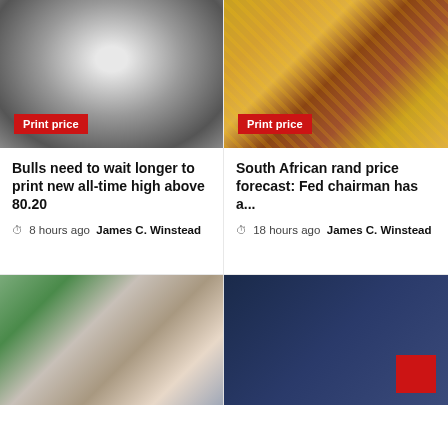[Figure (photo): Grayscale close-up of an elderly man with round glasses, resembling a banknote engraving]
Print price
[Figure (photo): Color photo of South African 200 rand banknotes fanned out, featuring Nelson Mandela's portrait]
Print price
Bulls need to wait longer to print new all-time high above 80.20
🕐 8 hours ago  James C. Winstead
South African rand price forecast: Fed chairman has a...
🕐 18 hours ago  James C. Winstead
[Figure (photo): Portrait photo of a middle-aged man with beard, smiling, in casual setting with plants in background]
[Figure (photo): Dark blue-toned tech/digital image showing document and network icons with a red square element in the corner]